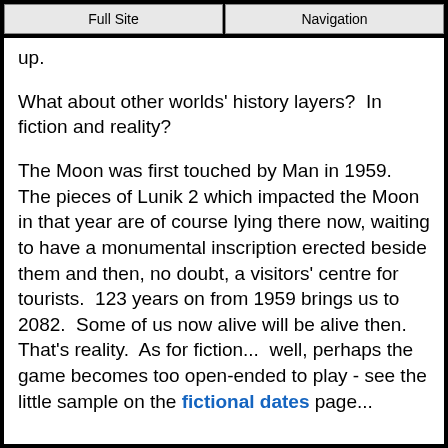Full Site | Navigation
up.
What about other worlds' history layers?  In fiction and reality?
The Moon was first touched by Man in 1959.  The pieces of Lunik 2 which impacted the Moon in that year are of course lying there now, waiting to have a monumental inscription erected beside them and then, no doubt, a visitors' centre for tourists.  123 years on from 1959 brings us to 2082.  Some of us now alive will be alive then.  That's reality.  As for fiction...  well, perhaps the game becomes too open-ended to play - see the little sample on the fictional dates page...